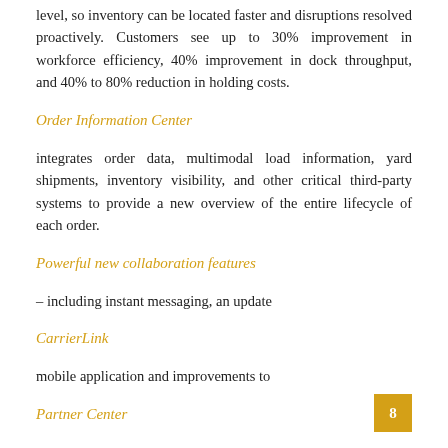level, so inventory can be located faster and disruptions resolved proactively. Customers see up to 30% improvement in workforce efficiency, 40% improvement in dock throughput, and 40% to 80% reduction in holding costs.
Order Information Center
integrates order data, multimodal load information, yard shipments, inventory visibility, and other critical third-party systems to provide a new overview of the entire lifecycle of each order.
Powerful new collaboration features
– including instant messaging, an update
CarrierLink
mobile application and improvements to
Partner Center